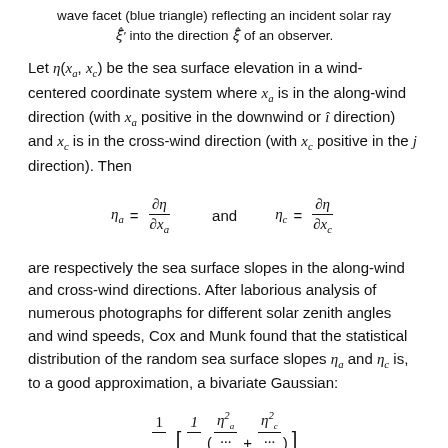wave facet (blue triangle) reflecting an incident solar ray ξ̂' into the direction ξ̂ of an observer.
Let η(x_a, x_c) be the sea surface elevation in a wind-centered coordinate system where x_a is in the along-wind direction (with x_a positive in the downwind or î direction) and x_c is in the cross-wind direction (with x_c positive in the ĵ direction). Then
are respectively the sea surface slopes in the along-wind and cross-wind directions. After laborious analysis of numerous photographs for different solar zenith angles and wind speeds, Cox and Munk found that the statistical distribution of the random sea surface slopes η_a and η_c is, to a good approximation, a bivariate Gaussian: